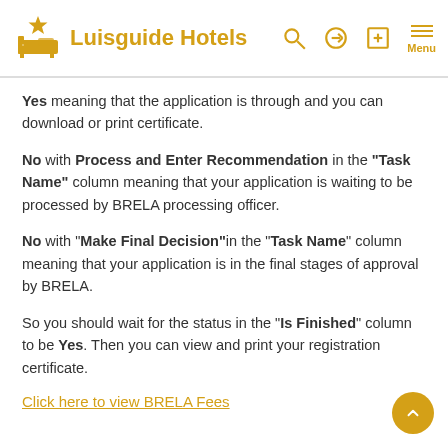Luisguide Hotels
Yes meaning that the application is through and you can download or print certificate.
No with Process and Enter Recommendation in the "Task Name" column meaning that your application is waiting to be processed by BRELA processing officer.
No with "Make Final Decision" in the "Task Name" column meaning that your application is in the final stages of approval by BRELA.
So you should wait for the status in the "Is Finished" column to be Yes. Then you can view and print your registration certificate.
Click here to view BRELA Fees